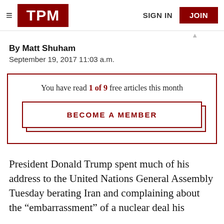TPM — SIGN IN | JOIN
By Matt Shuham
September 19, 2017 11:03 a.m.
You have read 1 of 9 free articles this month
BECOME A MEMBER
President Donald Trump spent much of his address to the United Nations General Assembly Tuesday berating Iran and complaining about the “embarrassment” of a nuclear deal his